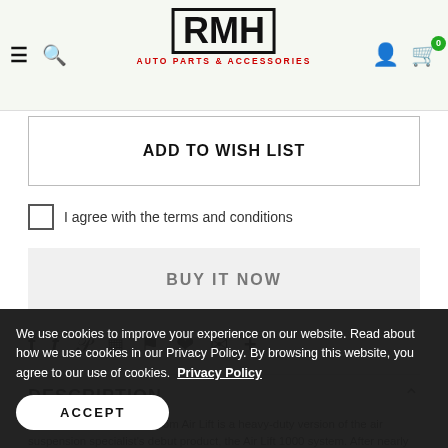RMH AUTO PARTS & ACCESSORIES — navigation header with logo, search, user, cart icons
ADD TO WISH LIST
I agree with the terms and conditions
BUY IT NOW
Social share icons: Facebook, Twitter, Pinterest, Grid, Bookmark, Heart, Email, Plus
DESCRIPTION
The new Air Lift 1000HD from Air Lift is a heavy-duty version of the air suspension specialist's debut product, the Air Lift 1000 system. After nearly 70 years, the staple product has been upgraded to offer up to 2,500 lbs. of load-leveling capabilities. Specifically designed for drivers of RAM 1500 pickups, these custom-molded polyethylene air springs are simply inserted in the rear
We use cookies to improve your experience on our website. Read about how we use cookies in our Privacy Policy. By browsing this website, you agree to our use of cookies. Privacy Policy